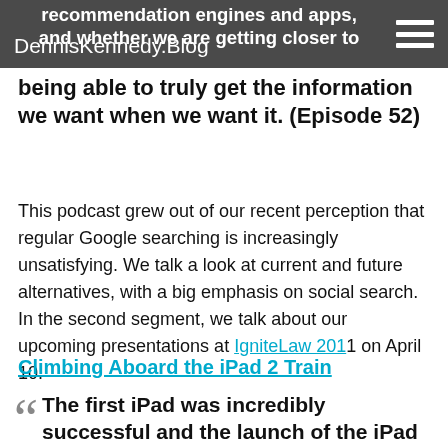DennisKennedy.Blog
recommendation engines and apps, and whether we are getting closer to being able to truly get the information we want when we want it. (Episode 52)
This podcast grew out of our recent perception that regular Google searching is increasingly unsatisfying. We talk a look at current and future alternatives, with a big emphasis on social search. In the second segment, we talk about our upcoming presentations at IgniteLaw 2011 on April 10.
Climbing Aboard the iPad 2 Train
The first iPad was incredibly successful and the launch of the iPad 2 has created a fresh surge of interest in